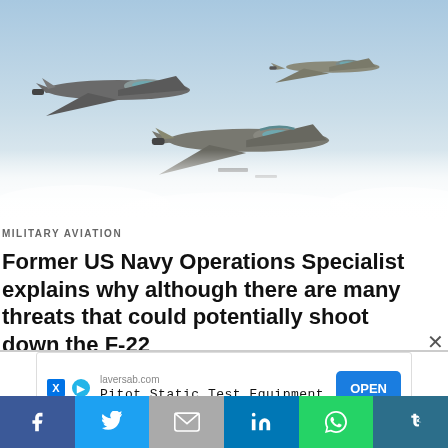[Figure (photo): Three military fighter jets (F-22 Raptor and two Eurofighter/Rafale type aircraft) flying in formation above clouds against a light blue sky.]
MILITARY AVIATION
Former US Navy Operations Specialist explains why although there are many threats that could potentially shoot down the F-22
[Figure (other): Advertisement banner for laversab.com: 'Pitot Static Test Equipment' with OPEN button and X/D ad icons.]
Social share bar: Facebook, Twitter, Gmail, LinkedIn, WhatsApp, Tumblr